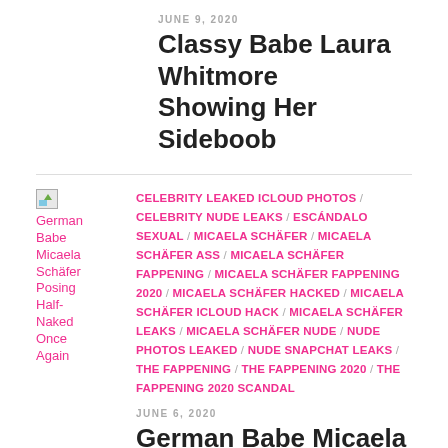JUNE 9, 2020
Classy Babe Laura Whitmore Showing Her Sideboob
[Figure (photo): Thumbnail image placeholder for German Babe Micaela Schäfer article]
German Babe Micaela Schäfer Posing Half-Naked Once Again
CELEBRITY LEAKED ICLOUD PHOTOS / CELEBRITY NUDE LEAKS / ESCÁNDALO SEXUAL / MICAELA SCHÄFER / MICAELA SCHÄFER ASS / MICAELA SCHÄFER FAPPENING / MICAELA SCHÄFER FAPPENING 2020 / MICAELA SCHÄFER HACKED / MICAELA SCHÄFER ICLOUD HACK / MICAELA SCHÄFER LEAKS / MICAELA SCHÄFER NUDE / NUDE PHOTOS LEAKED / NUDE SNAPCHAT LEAKS / THE FAPPENING / THE FAPPENING 2020 / THE FAPPENING 2020 SCANDAL
JUNE 6, 2020
German Babe Micaela Schäfer Posing Half-Naked Once Again